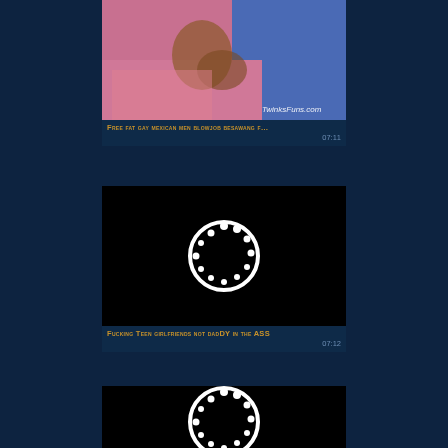[Figure (screenshot): Video thumbnail showing people on a pink bed, with watermark TwinksFuns.com]
Free fat gay mexican men blowjob besawang f… 07:11
[Figure (screenshot): Black video thumbnail with loading spinner circle]
Fucking Teen girlfriends not dadDY in the ASS 07:12
[Figure (screenshot): Black video thumbnail with loading spinner circle, partially visible]